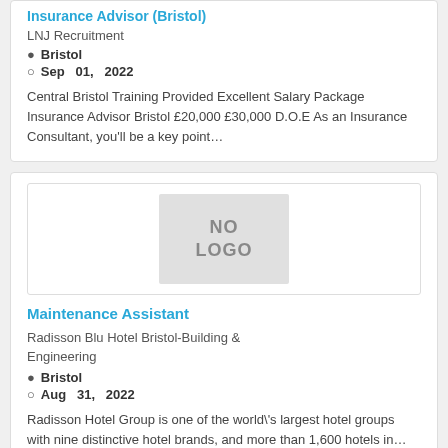Insurance Advisor (Bristol)
LNJ Recruitment
Bristol
Sep  01,  2022
Central Bristol Training Provided Excellent Salary Package Insurance Advisor Bristol £20,000 £30,000 D.O.E As an Insurance Consultant, you'll be a key point…
[Figure (other): NO LOGO placeholder image box]
Maintenance Assistant
Radisson Blu Hotel Bristol-Building & Engineering
Bristol
Aug  31,  2022
Radisson Hotel Group is one of the world\'s largest hotel groups with nine distinctive hotel brands, and more than 1,600 hotels in…